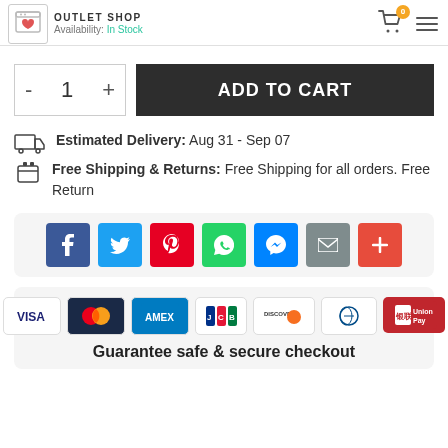OUTLET SHOP | Availability: In Stock
- 1 +
ADD TO CART
Estimated Delivery: Aug 31 - Sep 07
Free Shipping & Returns: Free Shipping for all orders. Free Return
[Figure (infographic): Social share buttons: Facebook, Twitter, Pinterest, WhatsApp, Messenger, Email, More]
[Figure (infographic): Payment method icons: Visa, Mastercard, Amex, JCB, Discover, Diners Club, UnionPay. Text: Guarantee safe & secure checkout]